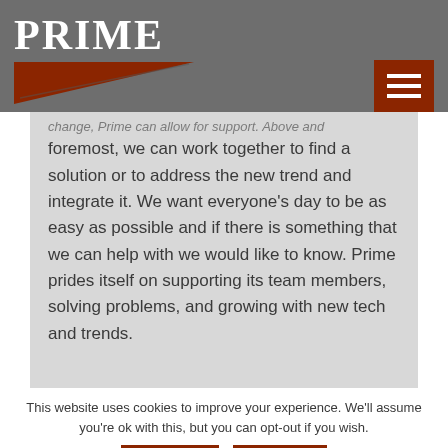PRIME
foremost, we can work together to find a solution or to address the new trend and integrate it. We want everyone's day to be as easy as possible and if there is something that we can help with we would like to know. Prime prides itself on supporting its team members, solving problems, and growing with new tech and trends.
This website uses cookies to improve your experience. We'll assume you're ok with this, but you can opt-out if you wish.
Accept   Reject